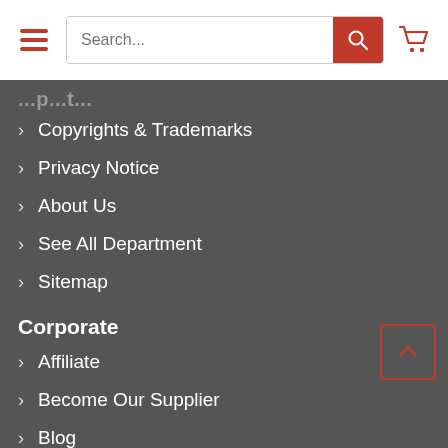Search...
...partial text (cropped)
Copyrights & Trademarks
Privacy Notice
About Us
See All Department
Sitemap
Corporate
Affiliate
Become Our Supplier
Blog
Help
Purchase Order